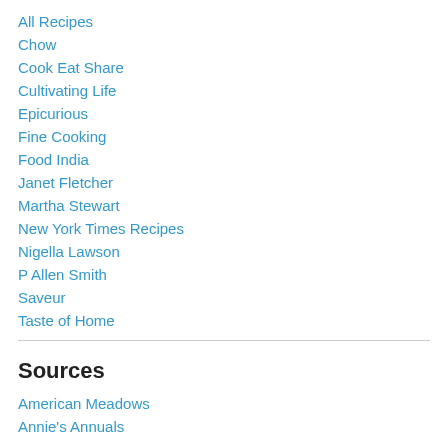All Recipes
Chow
Cook Eat Share
Cultivating Life
Epicurious
Fine Cooking
Food India
Janet Fletcher
Martha Stewart
New York Times Recipes
Nigella Lawson
P Allen Smith
Saveur
Taste of Home
Sources
American Meadows
Annie's Annuals